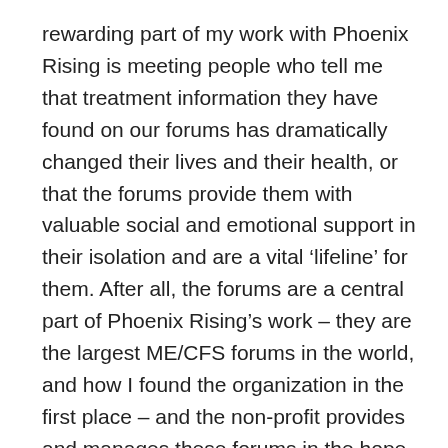rewarding part of my work with Phoenix Rising is meeting people who tell me that treatment information they have found on our forums has dramatically changed their lives and their health, or that the forums provide them with valuable social and emotional support in their isolation and are a vital ‘lifeline’ for them. After all, the forums are a central part of Phoenix Rising’s work – they are the largest ME/CFS forums in the world, and how I found the organization in the first place – and the non-profit provides and manages these forums in the hope and belief that they are a valuable resource to the ME/CFS community.
But a lot of my time as a forum moderator is spent dealing with problems, grievances, and criticism. We